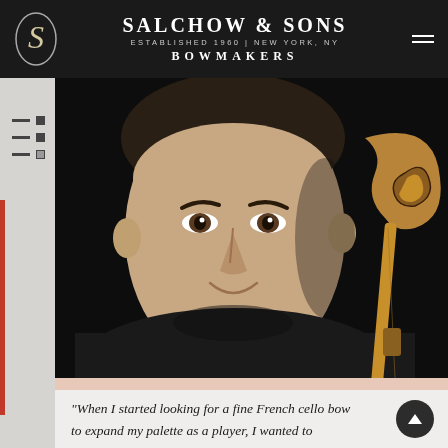SALCHOW & SONS | ESTABLISHED 1960 | NEW YORK, NY | BOWMAKERS
[Figure (photo): Portrait of a man in a black shirt holding a cello scroll/bow, smiling, photographed against a dark background]
"When I started looking for a fine French cello bow to expand my palette as a player, I wanted to